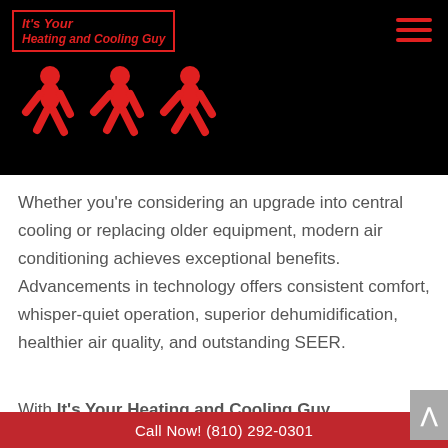[Figure (logo): It's Your Heating and Cooling Guy logo with red text in a bordered box and three red running figures silhouettes on black background]
Whether you're considering an upgrade into central cooling or replacing older equipment, modern air conditioning achieves exceptional benefits. Advancements in technology offers consistent comfort, whisper-quiet operation, superior dehumidification, healthier air quality, and outstanding SEER.
With It's Your Heating and Cooling Guy
Call Now! (810) 292-0301